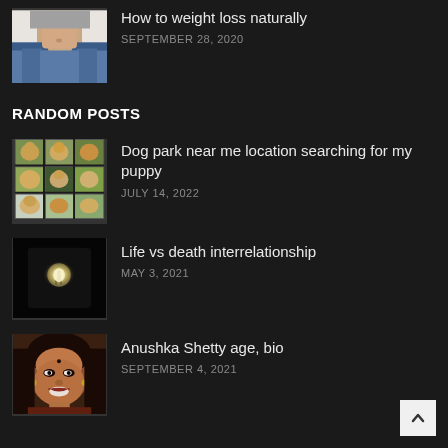How to weight loss naturally — SEPTEMBER 28, 2020
RANDOM POSTS
Dog park near me location searching for my puppy — JULY 14, 2022
Life vs death interrelationship — MAY 3, 2021
Anushka Shetty age, bio — SEPTEMBER 4, 2021